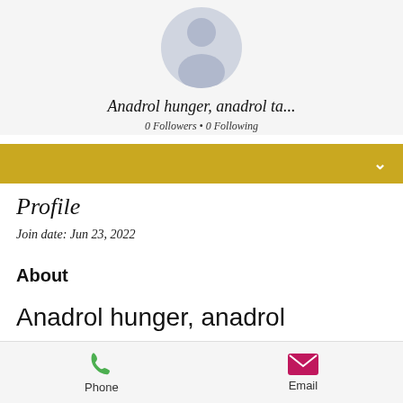[Figure (illustration): User profile avatar area with olive/gold top banner, circular gray silhouette placeholder image, and light gray background]
Anadrol hunger, anadrol ta...
0 Followers • 0 Following
[Figure (other): Gold/yellow collapsible bar with white chevron/down-arrow on the right]
Profile
Join date: Jun 23, 2022
About
Anadrol hunger, anadrol
Phone   Email